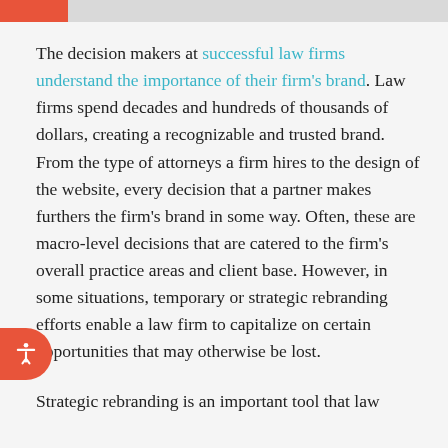The decision makers at successful law firms understand the importance of their firm's brand. Law firms spend decades and hundreds of thousands of dollars, creating a recognizable and trusted brand. From the type of attorneys a firm hires to the design of the website, every decision that a partner makes furthers the firm's brand in some way. Often, these are macro-level decisions that are catered to the firm's overall practice areas and client base. However, in some situations, temporary or strategic rebranding efforts enable a law firm to capitalize on certain opportunities that may otherwise be lost.
Strategic rebranding is an important tool that law